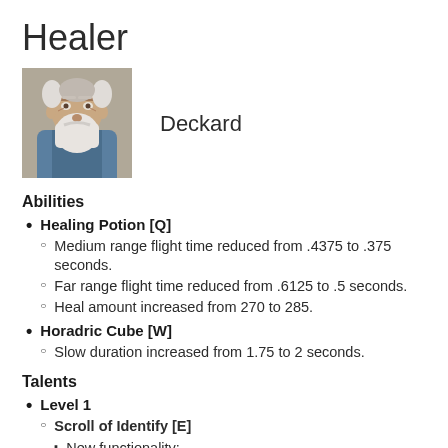Healer
[Figure (illustration): Portrait illustration of Deckard, an old man with white beard and grey hair wearing blue robes]
Deckard
Abilities
Healing Potion [Q]
Medium range flight time reduced from .4375 to .375 seconds.
Far range flight time reduced from .6125 to .5 seconds.
Heal amount increased from 270 to 285.
Horadric Cube [W]
Slow duration increased from 1.75 to 2 seconds.
Talents
Level 1
Scroll of Identify [E]
New functionality:
Quest: Hitting a Hero with Scroll of Sealing permanently increases its damage by 2.